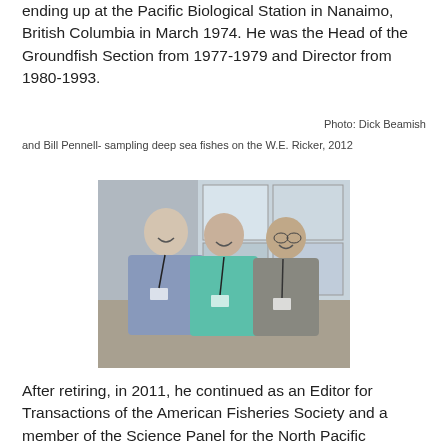ending up at the Pacific Biological Station in Nanaimo, British Columbia in March 1974. He was the Head of the Groundfish Section from 1977-1979 and Director from 1980-1993.
Photo: Dick Beamish and Bill Pennell- sampling deep sea fishes on the W.E. Ricker, 2012
[Figure (photo): Three people posing together indoors — two men and a woman in the middle wearing a teal/green top. The man on the left wears a light blue shirt with a name badge, the woman in the center is smiling, and the older man on the right wears a vest. They appear to be at a conference or research facility.]
After retiring, in 2011, he continued as an Editor for Transactions of the American Fisheries Society and a member of the Science Panel for the North Pacific Research Board. He was also a member of the Scientific